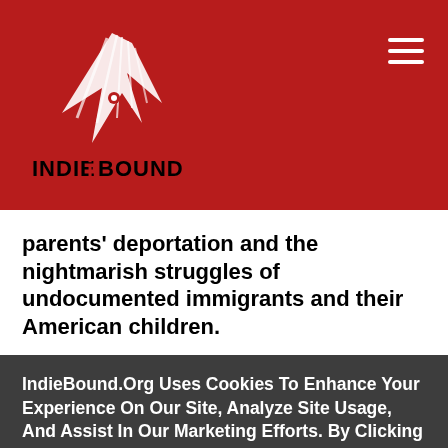IndieBound logo and navigation header
parents' deportation and the nightmarish struggles of undocumented immigrants and their American children.
Before landing a spot on the megahit Netflix show Orange is the New Black, before wow-ing audiences
IndieBound.Org Uses Cookies To Enhance Your Experience On Our Site, Analyze Site Usage, And Assist In Our Marketing Efforts. By Clicking Accept, You Agree To The Storing Of Cookies On Your Device. View Our Cookie Policy.
Give me more info
Accept all Cookies